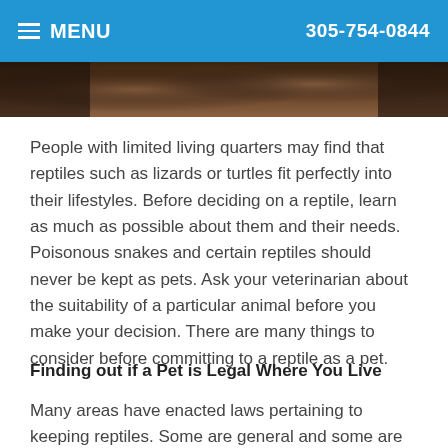MENU   305-754-0844
[Figure (photo): Partial view of a reptile or animal photograph strip at top of page]
People with limited living quarters may find that reptiles such as lizards or turtles fit perfectly into their lifestyles. Before deciding on a reptile, learn as much as possible about them and their needs. Poisonous snakes and certain reptiles should never be kept as pets. Ask your veterinarian about the suitability of a particular animal before you make your decision. There are many things to consider before committing to a reptile as a pet.
Finding out if a Pet is Legal Where You Live
Many areas have enacted laws pertaining to keeping reptiles. Some are general and some are quite specific; in many places any reptiles that are